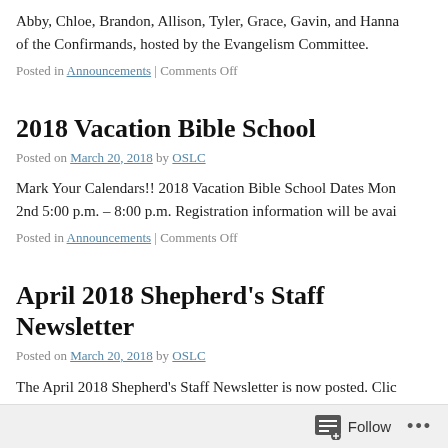Abby, Chloe, Brandon, Allison, Tyler, Grace, Gavin, and Hanna of the Confirmands, hosted by the Evangelism Committee.
Posted in Announcements | Comments Off
2018 Vacation Bible School
Posted on March 20, 2018 by OSLC
Mark Your Calendars!! 2018 Vacation Bible School Dates Mon 2nd 5:00 p.m. – 8:00 p.m. Registration information will be avai
Posted in Announcements | Comments Off
April 2018 Shepherd's Staff Newsletter
Posted on March 20, 2018 by OSLC
The April 2018 Shepherd's Staff Newsletter is now posted. Clic